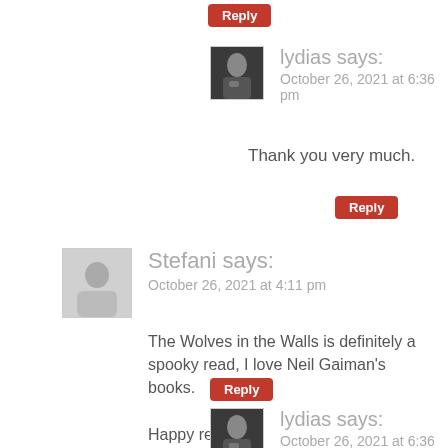Reply
lydias says:
October 26, 2021 at 6:36 pm
Thank you very much.
Reply
Stefani says:
October 26, 2021 at 4:11 pm
The Wolves in the Walls is definitely a spooky read, I love Neil Gaiman’s books.

Happy reading!

My TTT https://readwithstefani.com/top-ten-halloween-recommendations/
Reply
lydias says:
October 26, 2021 at 6:36 pm